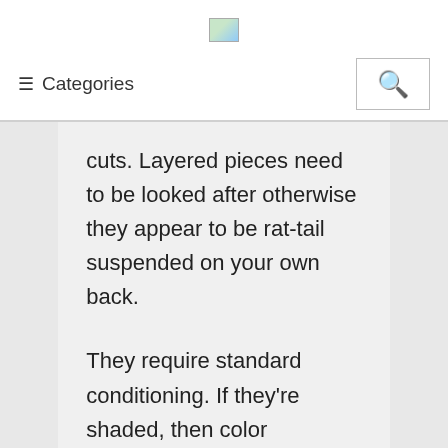[Figure (logo): Small image placeholder icon (broken image icon) in the header area]
≡ Categories
cuts. Layered pieces need to be looked after otherwise they appear to be rat-tail suspended on your own back.
They require standard conditioning. If they're shaded, then color becomes a typical procedure. Women loved tresses since they were therefore much preferred by men. Such tresses may be groomed completely with the best kind of